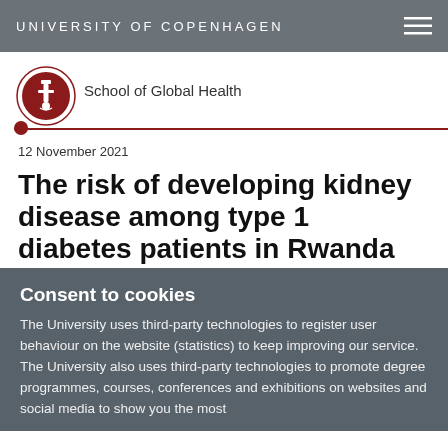UNIVERSITY OF COPENHAGEN
[Figure (logo): University of Copenhagen seal/crest logo in dark red circle]
School of Global Health
12 November 2021
The risk of developing kidney disease among type 1 diabetes patients in Rwanda
Consent to cookies
The University uses third-party technologies to register user behaviour on the website (statistics) to keep improving our service. The University also uses third-party technologies to promote degree programmes, courses, conferences and exhibitions on websites and social media to show you the most